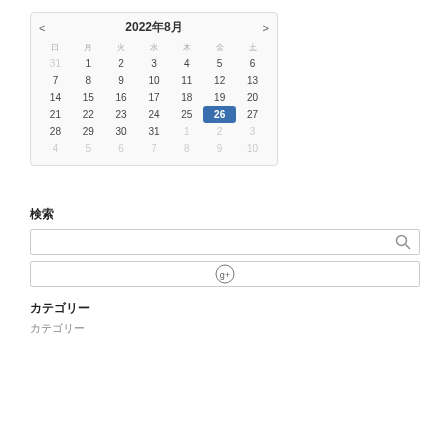[Figure (other): Calendar widget showing August 2022 with date 26 highlighted in blue. Navigation arrows on left (<) and right (>). Days of week headers shown as CJK characters. Dates from 31 (July) to 10 (September) displayed.]
検索
[Figure (other): Search input box with magnifying glass icon on the right]
[Figure (other): Google+ button/input box with G+ icon]
カテゴリー
カテゴリー